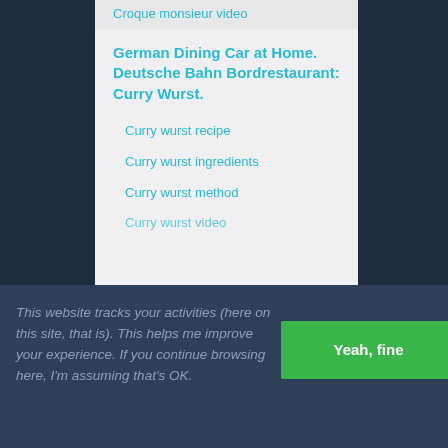Croque monsieur video
German Dining Car at Home. Deutsche Bahn Bordrestaurant: Curry Wurst.
Curry wurst recipe
Curry wurst ingredients
Curry wurst method
Curry wurst video
This website tracks your activities (here on this site, that is). This helps me improve your experience. If you continue browsing here, I'm assuming that's OK.
Yeah, fine